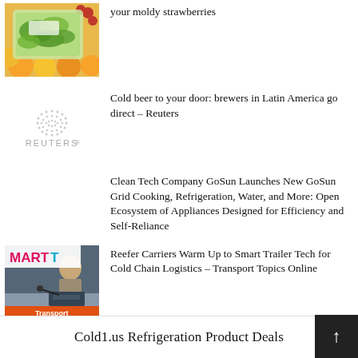[Figure (photo): Packaged salad greens with strawberries and other produce]
your moldy strawberries
[Figure (logo): Reuters logo — dotted globe above REUTERS text]
Cold beer to your door: brewers in Latin America go direct – Reuters
Clean Tech Company GoSun Launches New GoSun Grid Cooking, Refrigeration, Water, and More: Open Ecosystem of Appliances Designed for Efficiency and Self-Reliance
[Figure (photo): MARTT logo with photo of a man speaking at a podium with a Transport banner]
Reefer Carriers Warm Up to Smart Trailer Tech for Cold Chain Logistics – Transport Topics Online
Cold1.us Refrigeration Product Deals